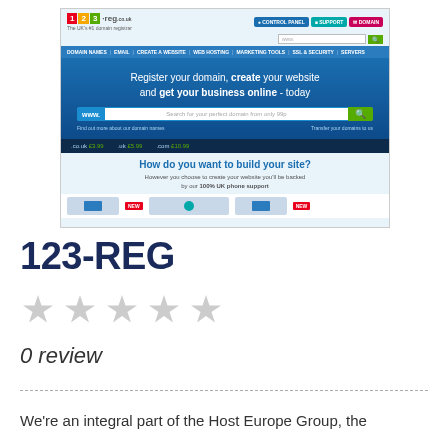[Figure (screenshot): Screenshot of 123-reg.co.uk website homepage showing domain registration service with logo, navigation bar, hero section with domain search, pricing bar (.co.uk £3.99, .uk £5.99, .com £10.99), and 'How do you want to build your site?' section]
123-REG
0 review
We're an integral part of the Host Europe Group, the